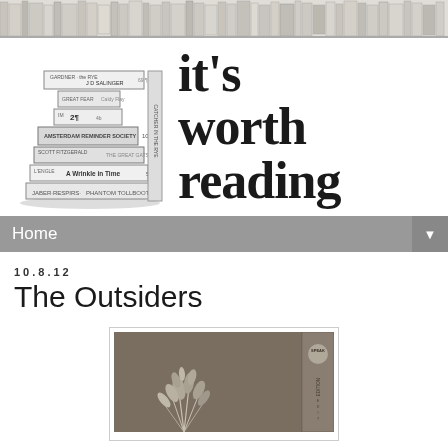[Figure (illustration): Decorative banner strip showing a sketched bookshelf with books, drawn in pencil/ink style]
[Figure (logo): Blog logo: stack of illustrated books on left with site name 'it's worth reading' in large bold serif font on right]
Home
10.8.12
The Outsiders
[Figure (photo): Book cover of The Outsiders - olive/taupe brown cover with a plant or wheat illustration and a spine label reading 'SPEAK EDITION']